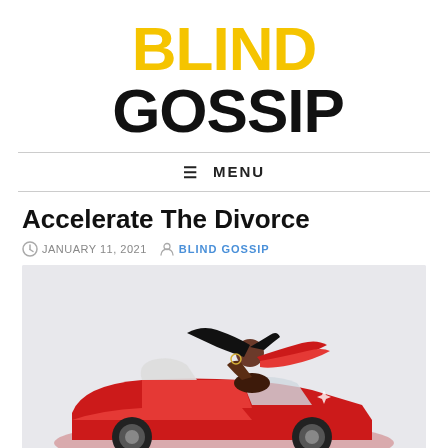[Figure (logo): Blind Gossip logo with BLIND in yellow and GOSSIP in black bold text]
MENU
Accelerate The Divorce
JANUARY 11, 2021   BLIND GOSSIP
[Figure (illustration): Illustration of a dark-haired woman in a red convertible sports car with a red scarf blowing in the wind]